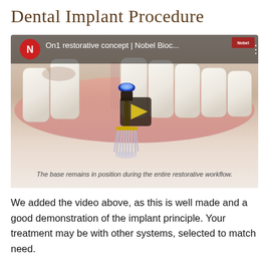Dental Implant Procedure
[Figure (screenshot): Video thumbnail showing a 3D dental illustration with teeth and a dental implant being placed. The video is titled 'On1 restorative concept | Nobel Bioc...' with a Nobel Biocare logo. A play button is visible in the center. A subtitle reads: 'The base remains in position during the entire restorative workflow.']
We added the video above, as this is well made and a good demonstration of the implant principle. Your treatment may be with other systems, selected to match need.